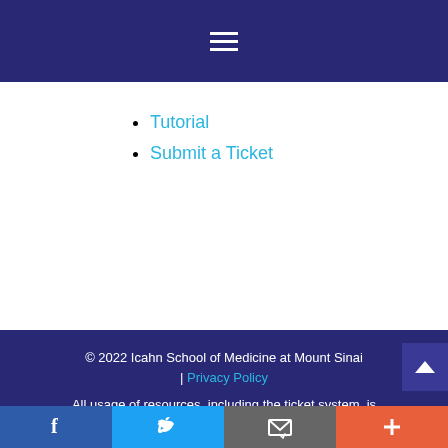≡ (hamburger menu)
Tutorial
Submit a Ticket
© 2022 Icahn School of Medicine at Mount Sinai | Privacy Policy
All usage of resources, including the ticket system, is